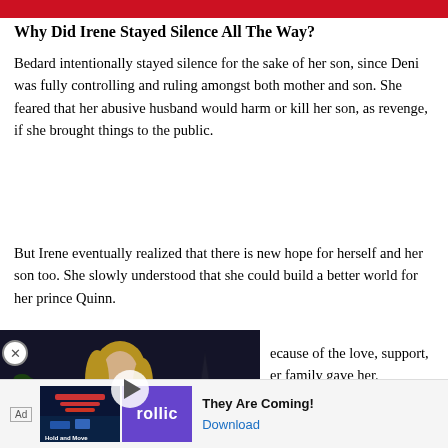Why Did Irene Stayed Silence All The Way?
Bedard intentionally stayed silence for the sake of her son, since Deni was fully controlling and ruling amongst both mother and son. She feared that her abusive husband would harm or kill her son, as revenge, if she brought things to the public.
But Irene eventually realized that there is new hope for herself and her son too. She slowly understood that she could build a better world for her prince Quinn. ...ecause of the love, support, ...er family gave her.
[Figure (screenshot): Video thumbnail showing a blonde woman in front of Eiffel Tower background with a play button overlay]
[Figure (screenshot): Ad banner for Rollic game 'Hold and Move' with text 'They Are Coming!' and Download link]